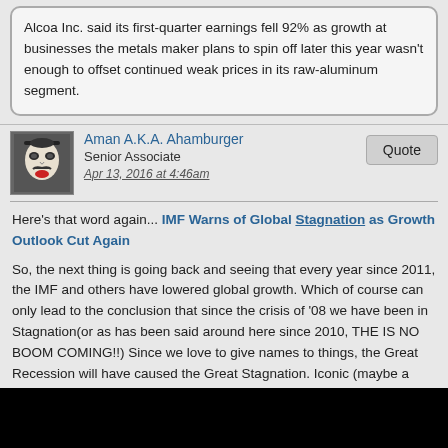Alcoa Inc. said its first-quarter earnings fell 92% as growth at businesses the metals maker plans to spin off later this year wasn't enough to offset continued weak prices in its raw-aluminum segment.
Aman A.K.A. Ahamburger
Senior Associate
Apr 13, 2016 at 4:46am
Here's that word again... IMF Warns of Global Stagnation as Growth Outlook Cut Again
So, the next thing is going back and seeing that every year since 2011, the IMF and others have lowered global growth. Which of course can only lead to the conclusion that since the crisis of '08 we have been in Stagnation(or as has been said around here since 2010, THE IS NO BOOM COMING!!) Since we love to give names to things, the Great Recession will have caused the Great Stagnation. Iconic (maybe a coincidence) that the Great Stagnation will end with a BOOM!?! Stay
Aman A.K.A. Ahamburger
Senior Associate